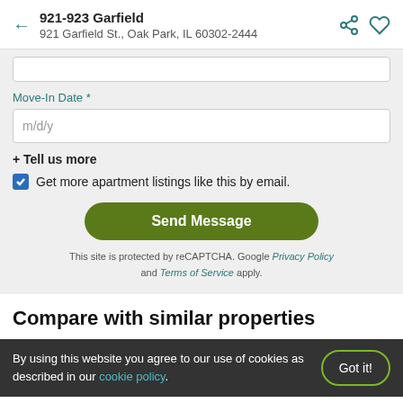921-923 Garfield
921 Garfield St., Oak Park, IL 60302-2444
Move-In Date *
m/d/y
+ Tell us more
Get more apartment listings like this by email.
Send Message
This site is protected by reCAPTCHA. Google Privacy Policy and Terms of Service apply.
Compare with similar properties
By using this website you agree to our use of cookies as described in our cookie policy.
Got it!